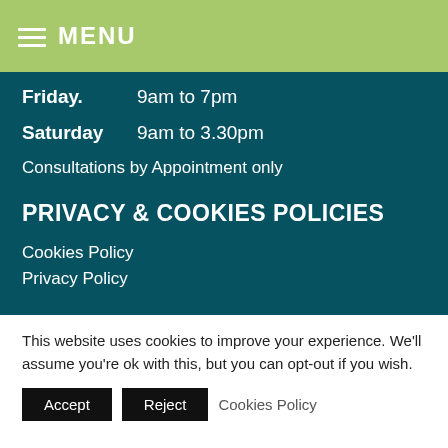MENU
Friday. 9am to 7pm
Saturday 9am to 3.30pm
Consultations by Appointment only
PRIVACY & COOKIES POLICIES
Cookies Policy
Privacy Policy
This website uses cookies to improve your experience. We'll assume you're ok with this, but you can opt-out if you wish.
Accept  Reject  Cookies Policy